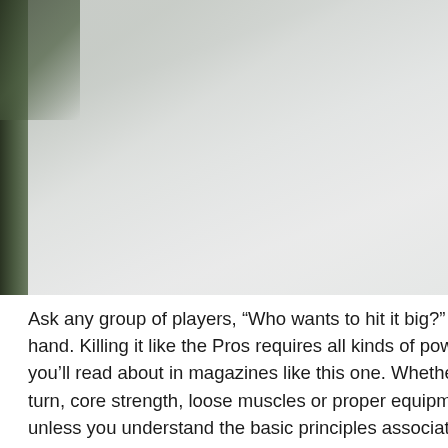[Figure (photo): Outdoor golf scene, partially visible on the left side with dark green foliage and a light grey misty or foggy sky background filling most of the image area.]
Ask any group of players, “Who wants to hit it big?” and in hand. Killing it like the Pros requires all kinds of power pro you’ll read about in magazines like this one. Whether you’ turn, core strength, loose muscles or proper equipment, I’m unless you understand the basic principles associated with learning how to deliver your club head in a manner that pu making it fire like a rocket, shoot like a bullet and sing to th